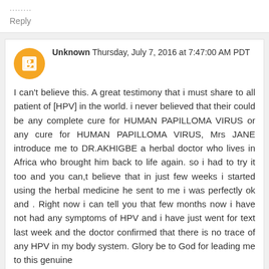........
Reply
Unknown Thursday, July 7, 2016 at 7:47:00 AM PDT
I can't believe this. A great testimony that i must share to all patient of [HPV] in the world. i never believed that their could be any complete cure for HUMAN PAPILLOMA VIRUS or any cure for HUMAN PAPILLOMA VIRUS, Mrs JANE introduce me to DR.AKHIGBE a herbal doctor who lives in Africa who brought him back to life again. so i had to try it too and you can,t believe that in just few weeks i started using the herbal medicine he sent to me i was perfectly ok and . Right now i can tell you that few months now i have not had any symptoms of HPV and i have just went for text last week and the doctor confirmed that there is no trace of any HPV in my body system. Glory be to God for leading me to this genuine